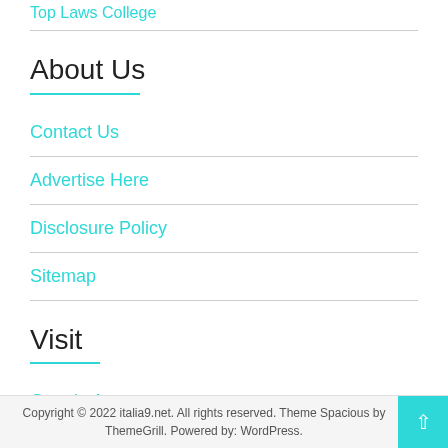Top Laws College
About Us
Contact Us
Advertise Here
Disclosure Policy
Sitemap
Visit
Google Arts
Copyright © 2022 italia9.net. All rights reserved. Theme Spacious by ThemeGrill. Powered by: WordPress.